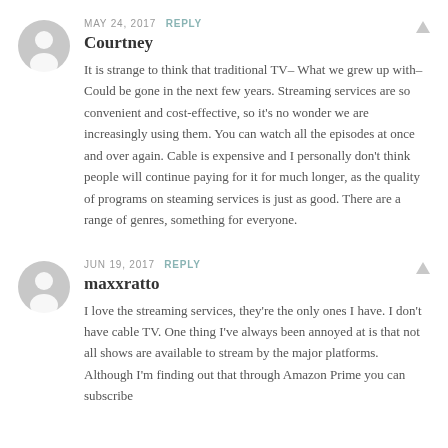[Figure (illustration): Gray user avatar icon (silhouette of a person) for first commenter]
MAY 24, 2017  REPLY
Courtney
It is strange to think that traditional TV– What we grew up with– Could be gone in the next few years. Streaming services are so convenient and cost-effective, so it's no wonder we are increasingly using them. You can watch all the episodes at once and over again. Cable is expensive and I personally don't think people will continue paying for it for much longer, as the quality of programs on steaming services is just as good. There are a range of genres, something for everyone.
[Figure (illustration): Gray user avatar icon (silhouette of a person) for second commenter]
JUN 19, 2017  REPLY
maxxratto
I love the streaming services, they're the only ones I have. I don't have cable TV. One thing I've always been annoyed at is that not all shows are available to stream by the major platforms. Although I'm finding out that through Amazon Prime you can subscribe